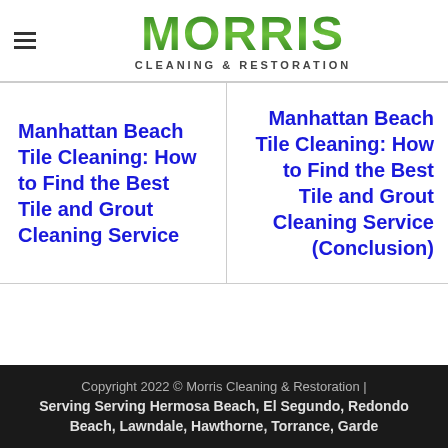[Figure (logo): Morris Cleaning & Restoration logo with hamburger menu icon]
Manhattan Beach Tile Cleaning: How to Find the Best Tile and Grout Cleaning Service
Manhattan Beach Tile Cleaning: How to Find the Best Tile and Grout Cleaning Service (Conclusion)
Copyright 2022 © Morris Cleaning & Restoration | Serving Serving Hermosa Beach, El Segundo, Redondo Beach, Lawndale, Hawthorne, Torrance, Gardena